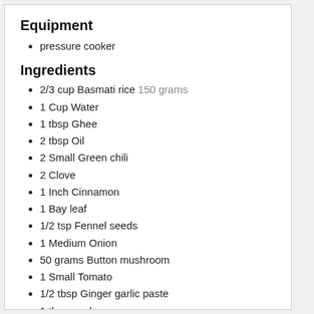Equipment
pressure cooker
Ingredients
2/3 cup Basmati rice 150 grams
1 Cup Water
1 tbsp Ghee
2 tbsp Oil
2 Small Green chili
2 Clove
1 Inch Cinnamon
1 Bay leaf
1/2 tsp Fennel seeds
1 Medium Onion
50 grams Button mushroom
1 Small Tomato
1/2 tbsp Ginger garlic paste
1 tbsp curd
1/2 tsp Red chili powder
1/2 tsp Garam masala powder
1/4 tsp Turmeric powder
1/4 tsp Cumin powder
1/4 tsp coriander powder